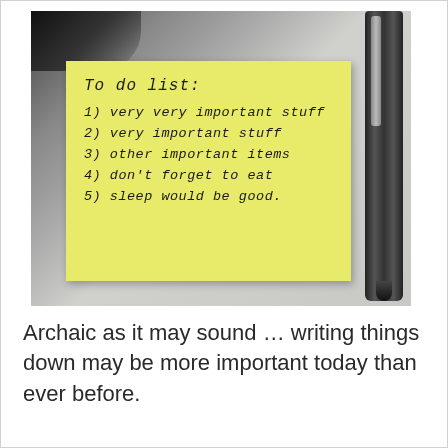[Figure (photo): A photo of a yellow sticky note with a handwritten to-do list, placed on a light surface next to a black pen. The note reads: 'To do list: 1) very very important stuff 2) very important stuff 3) other important items 4) don't forget to eat 5) sleep would be good.']
Archaic as it may sound … writing things down may be more important today than ever before.